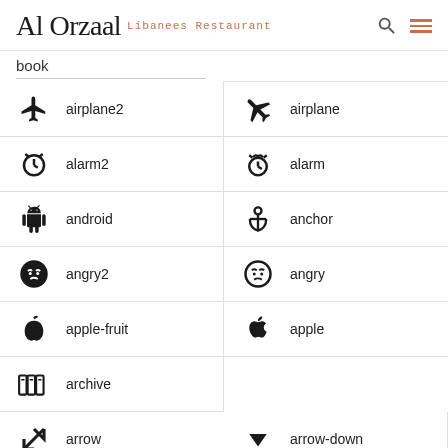Al Orzaal Libanees Restaurant
book
airplane
airplane2
alarm
alarm2
anchor
android
angry
angry2
apple
apple-fruit
archive
arrow
arrow-down